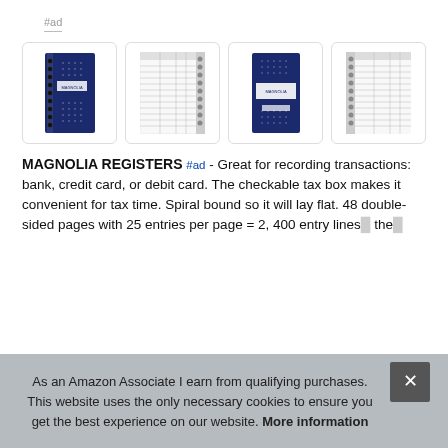#ad
[Figure (photo): Four product images of Magnolia register notebooks — two showing navy blue spiral-bound covers and two showing the interior ruled ledger pages.]
MAGNOLIA REGISTERS #ad - Great for recording transactions: bank, credit card, or debit card. The checkable tax box makes it convenient for tax time. Spiral bound so it will lay flat. 48 double-sided pages with 25 entries per page = 2, 400 entry lines...the...
As an Amazon Associate I earn from qualifying purchases. This website uses the only necessary cookies to ensure you get the best experience on our website. More information